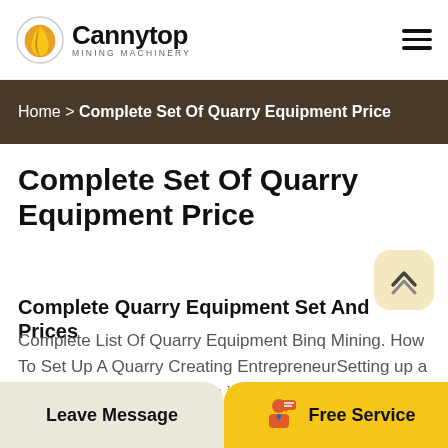Cannytop Mining Machinery
[Figure (logo): Cannytop Mining Machinery logo with gold teardrop/flame icon and company name]
Home > Complete Set Of Quarry Equipment Price
Complete Set Of Quarry Equipment Price
Complete Quarry Equipment Set And Prices
Complete List Of Quarry Equipment Binq Mining. How To Set Up A Quarry Creating EntrepreneurSetting up a quarry plant is like injection into the real productive sector of the economy The real sector development guarantees
Leave Message   Free Service